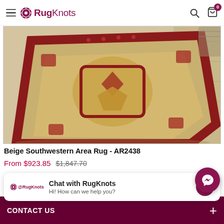RugKnots
[Figure (photo): A beige and red Persian/Southwestern style area rug with ornate medallion pattern, photographed on a light wood floor]
Beige Southwestern Area Rug - AR2438
From $923.85  $1,847.70
Chat with RugKnots
Hi! How can we help you?
CONTACT US